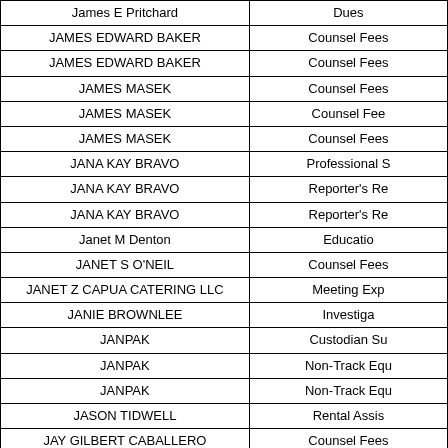| Name | Description |
| --- | --- |
| James E Pritchard | Dues |
| JAMES EDWARD BAKER | Counsel Fees |
| JAMES EDWARD BAKER | Counsel Fees |
| JAMES MASEK | Counsel Fees |
| JAMES MASEK | Counsel Fees |
| JAMES MASEK | Counsel Fees |
| JANA KAY BRAVO | Professional S |
| JANA KAY BRAVO | Reporter's Re |
| JANA KAY BRAVO | Reporter's Re |
| Janet M Denton | Educatio |
| JANET S O'NEIL | Counsel Fees |
| JANET Z CAPUA CATERING LLC | Meeting Exp |
| JANIE BROWNLEE | Investiga |
| JANPAK | Custodian Su |
| JANPAK | Non-Track Equ |
| JANPAK | Non-Track Equ |
| JASON TIDWELL | Rental Assis |
| JAY GILBERT CABALLERO | Counsel Fees |
| JAY GILBERT CABALLERO | Counsel Fees |
| JAYDEN GRAPHICS INC | Voting Sup |
| JEANIE BURLESON | Witness Tr |
| JEANIE MORRIS | Professional S |
| JEANIE MORRIS | Reporter's Re |